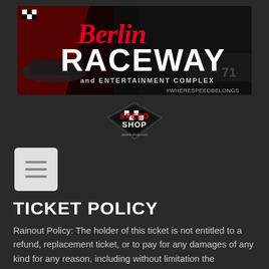[Figure (logo): Berlin Raceway and Entertainment Complex banner logo with checkered flag, red script 'Berlin' text, bold white 'RACEWAY' text, and hashtag #WHERESPEEDBELONGS on dark background with racing car imagery]
[Figure (logo): Speed Shop logo with checkered heart design, red and white text on dark background]
[Figure (other): Hamburger/menu icon button: three horizontal lines on light gray rounded square background]
TICKET POLICY
Rainout Policy: The holder of this ticket is not entitled to a refund, replacement ticket, or to pay for any damages of any kind for any reason, including without limitation the cancellation, shortening, or other alteration of the event. Berlin Raceway may without prior notice, change the date and or time of the event